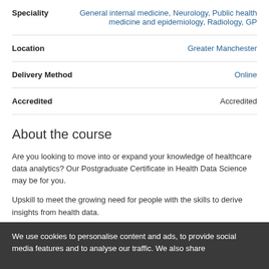| Field | Value |
| --- | --- |
| Speciality | General internal medicine, Neurology, Public health medicine and epidemiology, Radiology, GP |
| Location | Greater Manchester |
| Delivery Method | Online |
| Accredited | Accredited |
About the course
Are you looking to move into or expand your knowledge of healthcare data analytics? Our Postgraduate Certificate in Health Data Science may be for you.
Upskill to meet the growing need for people with the skills to derive insights from health data.
We use cookies to personalise content and ads, to provide social media features and to analyse our traffic. We also share